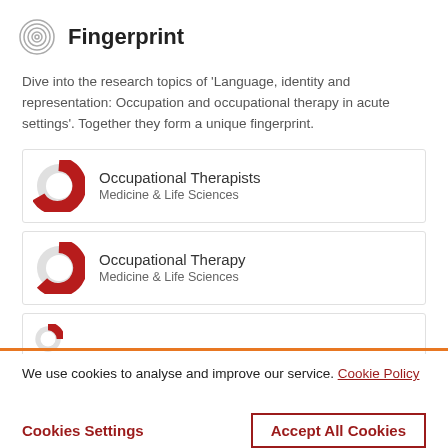Fingerprint
Dive into the research topics of 'Language, identity and representation: Occupation and occupational therapy in acute settings'. Together they form a unique fingerprint.
[Figure (donut-chart): Donut chart showing approximately 75% fill, dark red/crimson color, for Occupational Therapists]
Occupational Therapists
Medicine & Life Sciences
[Figure (donut-chart): Donut chart showing approximately 65% fill, dark red/crimson color, for Occupational Therapy]
Occupational Therapy
Medicine & Life Sciences
We use cookies to analyse and improve our service. Cookie Policy
Cookies Settings
Accept All Cookies